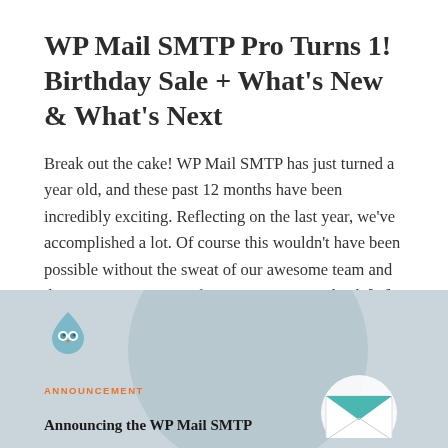WP Mail SMTP Pro Turns 1! Birthday Sale + What's New & What's Next
Break out the cake! WP Mail SMTP has just turned a year old, and these past 12 months have been incredibly exciting. Reflecting on the last year, we've accomplished a lot. Of course this wouldn't have been possible without the sweat of our awesome team and the support we receive from our users. So, thank [...]
Continue Reading
[Figure (illustration): Card with light blue-gray background showing WP Mail SMTP logo (droplet icon) in top left, an orange 'ANNOUNCEMENT' label, bold text 'Announcing the WP Mail SMTP' and a mail envelope icon on the right side]